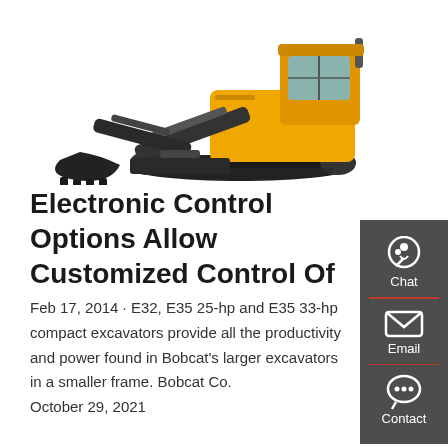[Figure (photo): Yellow and black Bobcat compact excavator on white background, showing arm, bucket, blade, and tracked undercarriage]
Electronic Control Options Allow Customized Control Of
Feb 17, 2014 · E32, E35 25-hp and E35 33-hp compact excavators provide all the productivity and power found in Bobcat's larger excavators in a smaller frame. Bobcat Co. October 29, 2021
[Figure (infographic): Dark gray sidebar panel with Chat (headset icon), Email (envelope icon), and Contact (speech bubble icon) buttons with red dividers]